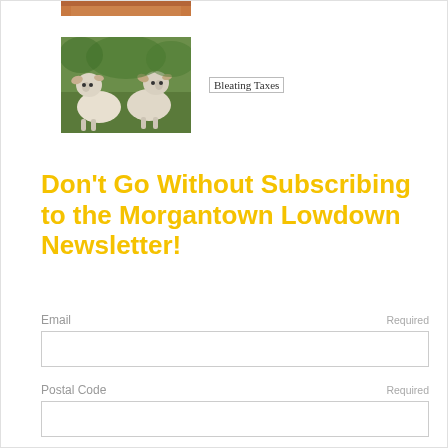[Figure (photo): Partial view of a wooden surface or frame, clipped at top]
[Figure (photo): Two white goats standing on green grass outdoors]
Bleating Taxes
Don't Go Without Subscribing to the Morgantown Lowdown Newsletter!
Email    Required
Postal Code    Required